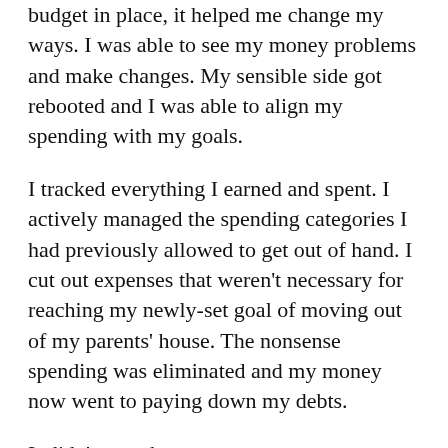budget in place, it helped me change my ways. I was able to see my money problems and make changes. My sensible side got rebooted and I was able to align my spending with my goals.
I tracked everything I earned and spent. I actively managed the spending categories I had previously allowed to get out of hand. I cut out expenses that weren't necessary for reaching my newly-set goal of moving out of my parents' house. The nonsense spending was eliminated and my money now went to paying down my debts.
It didn't stop there...
When the debt was gone, I kept the same